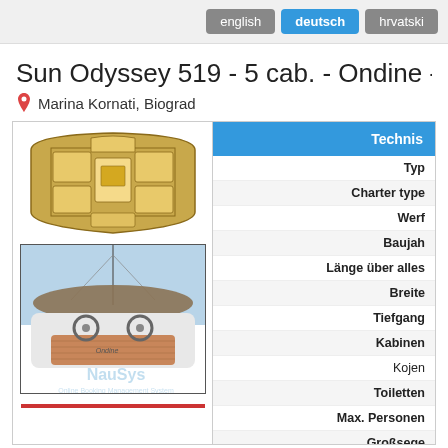english | deutsch | hrvatski
Sun Odyssey 519 - 5 cab. - Ondine - 20...
Marina Kornati, Biograd
[Figure (illustration): Top-down floor plan schematic of a sailing yacht showing 5 cabins layout with berths in yellow/orange tones]
[Figure (photo): Cockpit view of a white sailing yacht named Ondine with teak deck]
| Field | Value |
| --- | --- |
| Typ |  |
| Charter type |  |
| Werft |  |
| Baujahr |  |
| Länge über alles |  |
| Breite |  |
| Tiefgang |  |
| Kabinen |  |
| Kojen |  |
| Toiletten |  |
| Max. Personen |  |
| Großsegel |  |